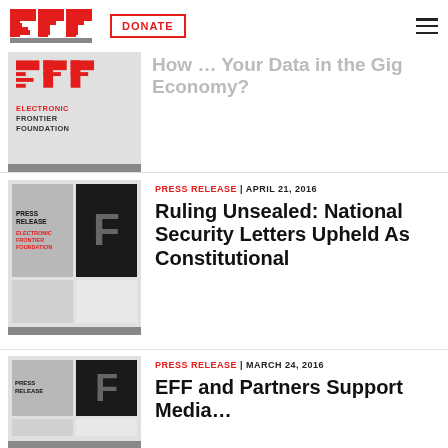EFF | DONATE | (hamburger menu)
[Figure (logo): EFF Electronic Frontier Foundation logo thumbnail, partial article]
How … Your Data … the Gig Economy? (partial, gray)
[Figure (logo): EFF Press Release thumbnail image with black E letter and red Electronic Frontier Foundation text]
PRESS RELEASE | APRIL 21, 2016
Ruling Unsealed: National Security Letters Upheld As Constitutional
[Figure (logo): EFF Press Release thumbnail image — second entry]
PRESS RELEASE | MARCH 24, 2016
EFF and Partners Support Media…